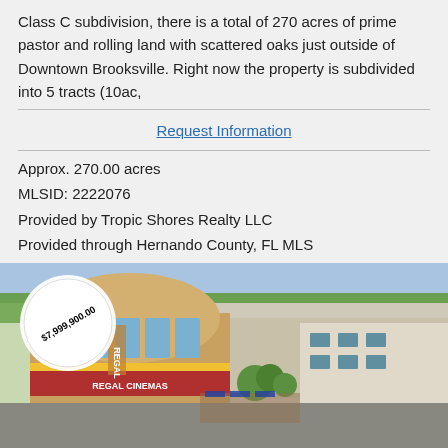Class C subdivision, there is a total of 270 acres of prime pastor and rolling land with scattered oaks just outside of Downtown Brooksville. Right now the property is subdivided into 5 tracts (10ac,
Request Information
Approx. 270.00 acres
MLSID: 2222076
Provided by Tropic Shores Realty LLC
Provided through Hernando County, FL MLS
DMCA Notice
16 Pictures and Information
[Figure (photo): Aerial/street-level photo of a Regal Cinemas building and surrounding commercial area with a price tag overlay reading $7,999,900.00]